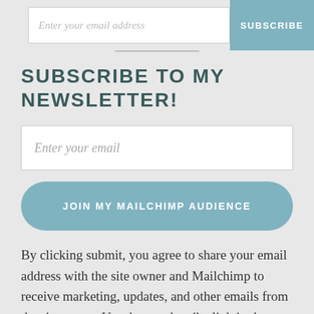[Figure (screenshot): Email input field with placeholder 'Enter your email address' and a teal SUBSCRIBE button to the right]
SUBSCRIBE TO MY NEWSLETTER!
[Figure (screenshot): Email input field with placeholder 'Enter your email' and a teal rounded button labeled 'JOIN MY MAILCHIMP AUDIENCE']
By clicking submit, you agree to share your email address with the site owner and Mailchimp to receive marketing, updates, and other emails from the site owner. Use the unsubscribe link in those emails to opt out at any time.